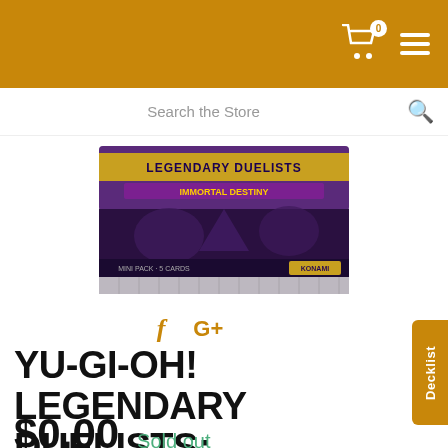Navigation header with cart icon (0 items) and menu icon
Search the Store
[Figure (photo): Yu-Gi-Oh! Legendary Duelists: Immortal Destiny booster pack product image showing the foil pack with purple and dark artwork]
f G+
YU-GI-OH! LEGENDARY DUELISTS: IMMORTAL DESTINY BOOSTER
$0.00  Sold out